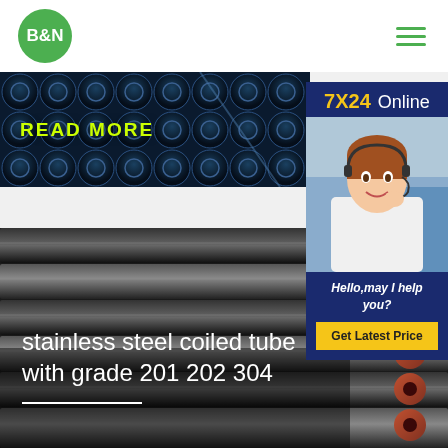B&N
[Figure (photo): Steel pipes close-up with READ MORE overlay text]
[Figure (photo): Customer service agent with headset - chat widget sidebar with 7X24 Online, Hello may I help you, Get Latest Price button]
[Figure (photo): Large steel tubes stacked in warehouse with product title overlay: stainless steel coiled tube with grade 201 202 304]